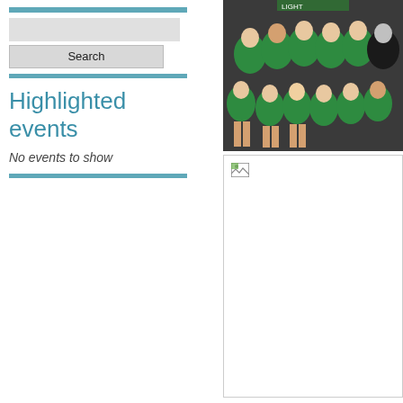[Figure (other): Decorative teal horizontal bar at top of left column]
[Figure (other): Search input box area (gray rectangle)]
Search
[Figure (other): Teal horizontal bar below search]
Highlighted events
No events to show
[Figure (other): Teal horizontal bar below events section]
[Figure (photo): Group photo of young people in green t-shirts seated in rows, appears to be a team or club photo]
[Figure (photo): Second photo with broken image icon visible in top-left corner, rest of image is white/not loaded]